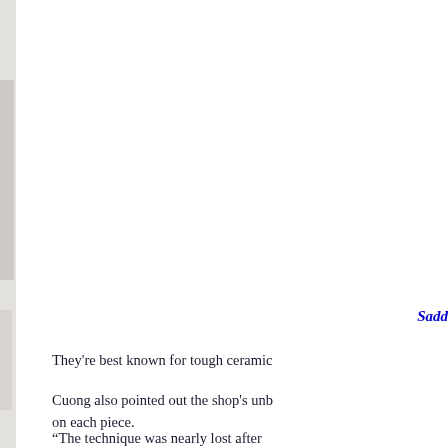[Figure (photo): Partial image of a person or ceramic object visible along the left edge of the page, mostly cropped out]
Sadd
They're best known for tough ceramic
Cuong also pointed out the shop's unb on each piece.
“The technique was nearly lost after